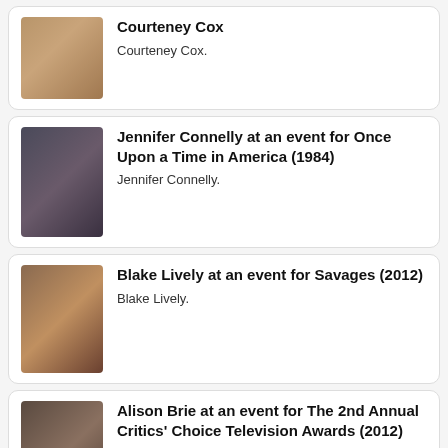Courteney Cox
Courteney Cox.
Jennifer Connelly at an event for Once Upon a Time in America (1984)
Jennifer Connelly.
Blake Lively at an event for Savages (2012)
Blake Lively.
Alison Brie at an event for The 2nd Annual Critics' Choice Television Awards (2012)
Alison Brie.
Isabelle Adjani